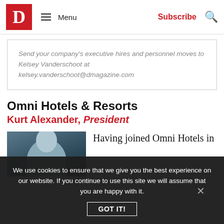D Magazine — Menu | Subscribe | Search
Send your company's executive hires and personnel moves to Kelsey Vanderschoot at kelsey.vanderschoot@dmagazine.com
Omni Hotels & Resorts
Kurt Alexander, President
[Figure (photo): Headshot photo of Kurt Alexander against a dark blue-grey background]
Having joined Omni Hotels in
We use cookies to ensure that we give you the best experience on our website. If you continue to use this site we will assume that you are happy with it. GOT IT!